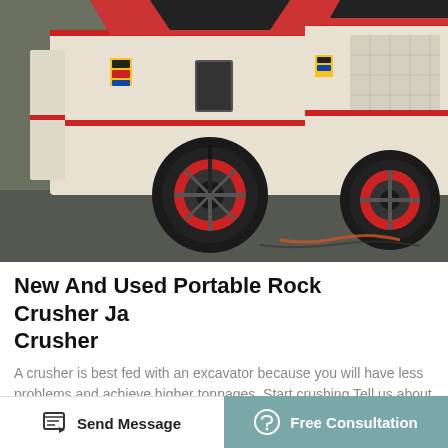[Figure (photo): Two white and red portable rock crusher / jaw crusher machines parked in a row, with large black and red flywheel pulleys visible, photographed from a low angle perspective.]
New And Used Portable Rock Crusher Jaw Crusher
A crusher is best fed with an excavator because you will have less problems and achieve higher tonnages. Start crushing Tell us about your project. Jaw Impact Crushers From low volume concrete and asphalt recycling to high-volume